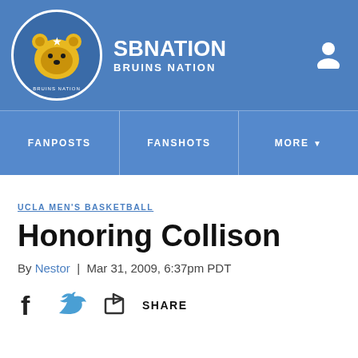SB NATION / BRUINS NATION
UCLA MEN'S BASKETBALL
Honoring Collison
By Nestor | Mar 31, 2009, 6:37pm PDT
SHARE